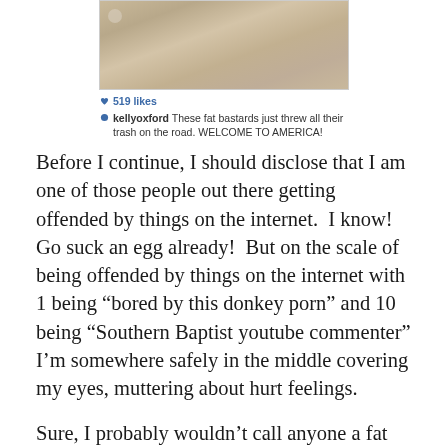[Figure (screenshot): Instagram screenshot showing a photo of a wooden surface/road, with 519 likes and a comment from user kellyoxford saying: 'These fat bastards just threw all their trash on the road. WELCOME TO AMERICA!']
Before I continue, I should disclose that I am one of those people out there getting offended by things on the internet.  I know!  Go suck an egg already!  But on the scale of being offended by things on the internet with 1 being “bored by this donkey porn” and 10 being “Southern Baptist youtube commenter” I’m somewhere safely in the middle covering my eyes, muttering about hurt feelings.
Sure, I probably wouldn’t call anyone a fat bastard except myself, after I’ve eaten a frozen pizza with macaroni and cheese on top, or a slab of lasagna between two pieces of